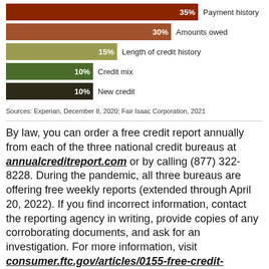[Figure (bar-chart): Credit score factors]
Sources: Experian, December 8, 2020; Fair Isaac Corporation, 2021
By law, you can order a free credit report annually from each of the three national credit bureaus at annualcreditreport.com or by calling (877) 322-8228. During the pandemic, all three bureaus are offering free weekly reports (extended through April 20, 2022). If you find incorrect information, contact the reporting agency in writing, provide copies of any corroborating documents, and ask for an investigation. For more information, visit consumer.ftc.gov/articles/0155-free-credit-reports.
1–2) Experian, December 8, 2020
This information is not intended as tax, legal, investment, or retirement advice or recommendations, and it may not be relied on for the purpose of avoiding any federal tax penalties. You are encouraged to seek guidance from an independent tax or legal